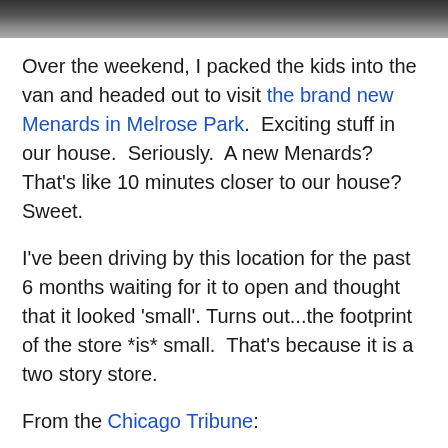[Figure (photo): Top strip showing a dark outdoor photo, partially visible at the top of the page]
Over the weekend, I packed the kids into the van and headed out to visit the brand new Menards in Melrose Park.  Exciting stuff in our house.  Seriously.  A new Menards?  That's like 10 minutes closer to our house?  Sweet.
I've been driving by this location for the past 6 months waiting for it to open and thought that it looked 'small'. Turns out...the footprint of the store *is* small.  That's because it is a two story store.
From the Chicago Tribune:
With the opening of this new 2-